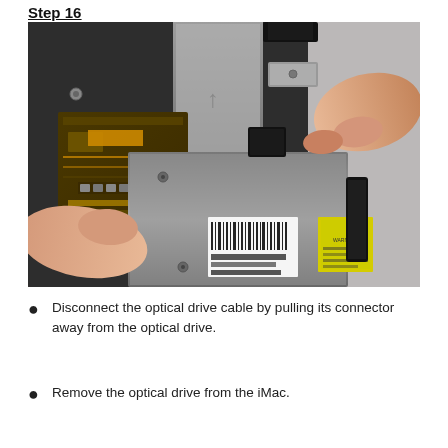Step 16
[Figure (photo): Close-up photo of hands disconnecting an optical drive cable connector from an optical drive inside an iMac. The image shows circuit boards, a metal heat shield, and a finger pulling a black cable connector away from the optical drive unit.]
Disconnect the optical drive cable by pulling its connector away from the optical drive.
Remove the optical drive from the iMac.